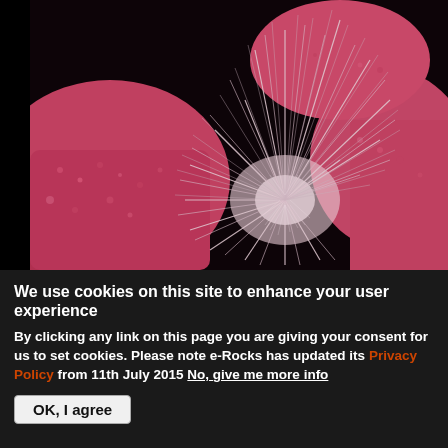[Figure (photo): Close-up macro photograph of a mineral specimen showing radiating white/pink needle-like crystals (stibnite or similar acicular mineral) growing from a matrix of rough pink/red granular rock, against a dark background.]
We use cookies on this site to enhance your user experience
By clicking any link on this page you are giving your consent for us to set cookies. Please note e-Rocks has updated its Privacy Policy from 11th July 2015 No, give me more info
OK, I agree